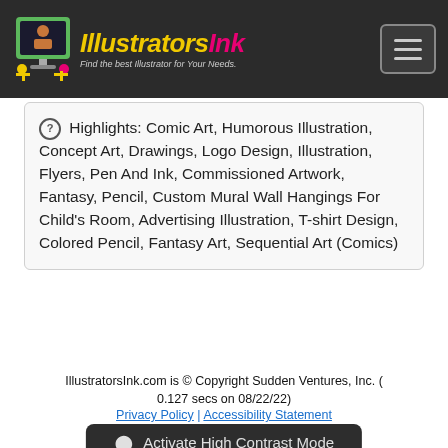IllustratorsInk — Find the best Illustrator for Your Needs.
Highlights: Comic Art, Humorous Illustration, Concept Art, Drawings, Logo Design, Illustration, Flyers, Pen And Ink, Commissioned Artwork, Fantasy, Pencil, Custom Mural Wall Hangings For Child's Room, Advertising Illustration, T-shirt Design, Colored Pencil, Fantasy Art, Sequential Art (Comics)
« Previous
Next »
IllustratorsInk.com is © Copyright Sudden Ventures, Inc. ( 0.127 secs on 08/22/22)
Privacy Policy | Accessibility Statement
Activate High Contrast Mode